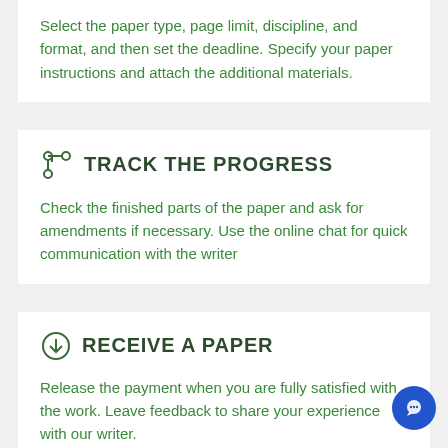Select the paper type, page limit, discipline, and format, and then set the deadline. Specify your paper instructions and attach the additional materials.
TRACK THE PROGRESS
Check the finished parts of the paper and ask for amendments if necessary. Use the online chat for quick communication with the writer
RECEIVE A PAPER
Release the payment when you are fully satisfied with the work. Leave feedback to share your experience with our writer.